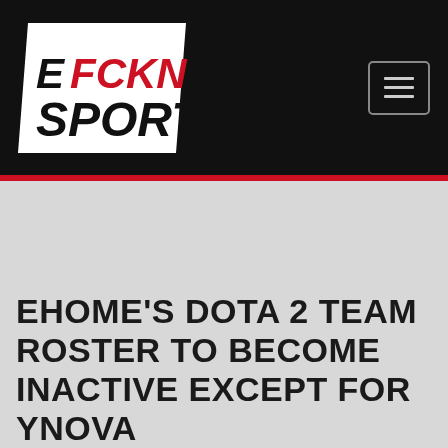[Figure (logo): EFCKN SPORTS logo in white and red on black background]
EHOME'S DOTA 2 TEAM ROSTER TO BECOME INACTIVE EXCEPT FOR YNOVA